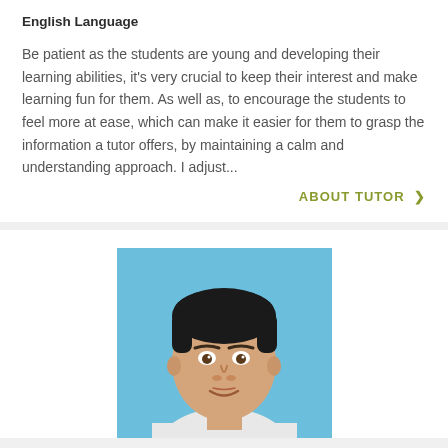English Language
Be patient as the students are young and developing their learning abilities, it's very crucial to keep their interest and make learning fun for them. As well as, to encourage the students to feel more at ease, which can make it easier for them to grasp the information a tutor offers, by maintaining a calm and understanding approach. I adjust...
ABOUT TUTOR >
[Figure (photo): Headshot of a young male tutor with dark hair, wearing a collared shirt, against a light blue background.]